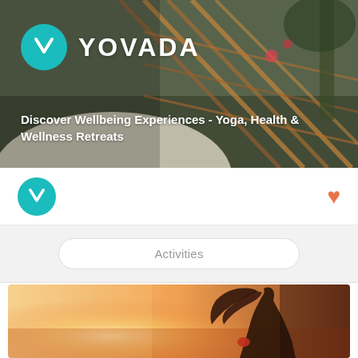[Figure (photo): Hero background photo: person relaxing in a hammock at a beach, wearing a white sun hat, colorful woven hammock, tropical setting]
YOVADA
Discover Wellbeing Experiences - Yoga, Health & Wellness Retreats
[Figure (logo): Yovada teal circular logo with stylized Y letter]
[Figure (illustration): Heart icon in coral/orange color]
Activities
[Figure (photo): Photo of a woman silhouetted against a warm sunset sky, holding something red, warm golden tones]